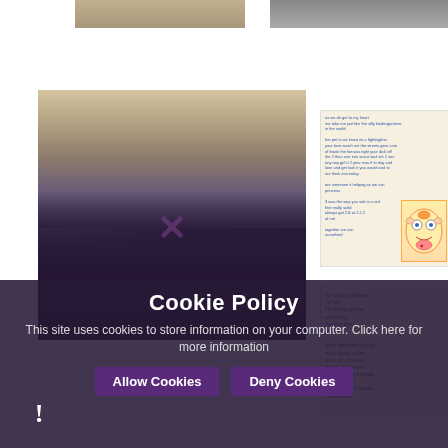[Figure (photo): Partial top edge of two photos visible at top of page]
[Figure (photo): Students sitting in a classroom discussion group with bookshelves in background]
[Figure (photo): Handwritten note/letter with a cartoon monster drawing]
[Figure (photo): Handwritten poem on lined paper]
Cookie Policy
This site uses cookies to store information on your computer. Click here for more information
Allow Cookies
Deny Cookies